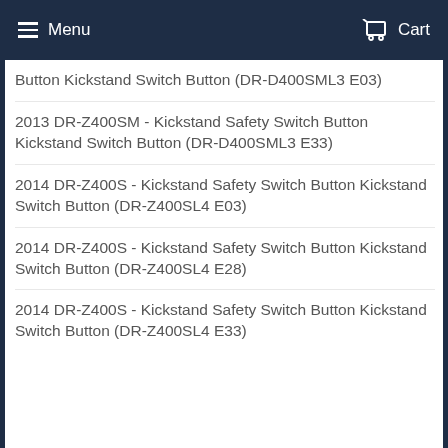Menu  Cart
Button Kickstand Switch Button (DR-D400SML3 E03)
2013 DR-Z400SM - Kickstand Safety Switch Button Kickstand Switch Button (DR-D400SML3 E33)
2014 DR-Z400S - Kickstand Safety Switch Button Kickstand Switch Button (DR-Z400SL4 E03)
2014 DR-Z400S - Kickstand Safety Switch Button Kickstand Switch Button (DR-Z400SL4 E28)
2014 DR-Z400S - Kickstand Safety Switch Button Kickstand Switch Button (DR-Z400SL4 E33)